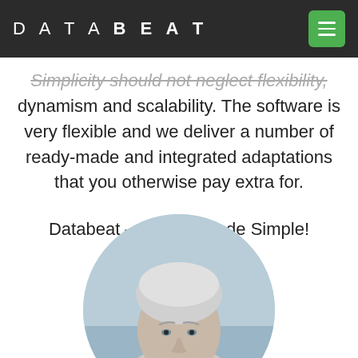DATABEAT
Simplicity should not neglect flexibility, dynamism and scalability. The software is very flexible and we deliver a number of ready-made and integrated adaptations that you otherwise pay extra for.
Databeat – Difficult Made Simple!
[Figure (photo): Circular portrait photo of a middle-aged man with short grey/white hair, looking slightly to the side, against a light blue/grey background.]